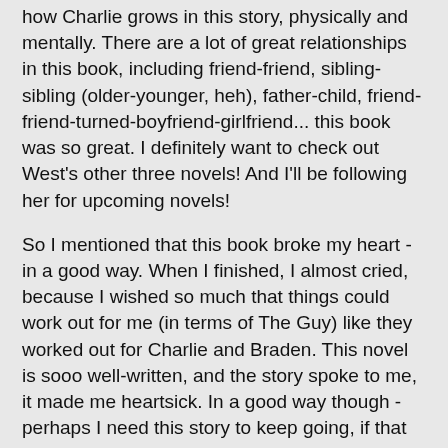how Charlie grows in this story, physically and mentally. There are a lot of great relationships in this book, including friend-friend, sibling-sibling (older-younger, heh), father-child, friend-friend-turned-boyfriend-girlfriend... this book was so great. I definitely want to check out West's other three novels! And I'll be following her for upcoming novels!
So I mentioned that this book broke my heart - in a good way. When I finished, I almost cried, because I wished so much that things could work out for me (in terms of The Guy) like they worked out for Charlie and Braden. This novel is sooo well-written, and the story spoke to me, it made me heartsick. In a good way though - perhaps I need this story to keep going, if that makes sense. Anyway.
What I Did Not Like:
This is alt...